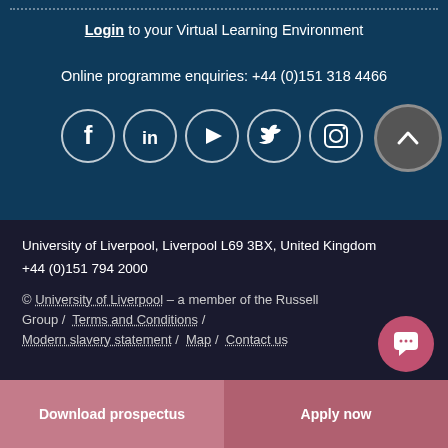Login to your Virtual Learning Environment
Online programme enquiries: +44 (0)151 318 4466
[Figure (illustration): Five social media icons in circles (Facebook, LinkedIn, YouTube, Twitter, Instagram) and a back-to-top arrow button]
University of Liverpool, Liverpool L69 3BX, United Kingdom
+44 (0)151 794 2000
© University of Liverpool – a member of the Russell Group /  Terms and Conditions /  Modern slavery statement /  Map /  Contact us
Download prospectus
Apply now